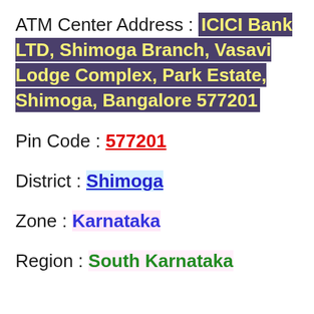ATM Center Address : ICICI Bank LTD, Shimoga Branch, Vasavi Lodge Complex, Park Estate, Shimoga, Bangalore 577201
Pin Code : 577201
District : Shimoga
Zone : Karnataka
Region : South Karnataka